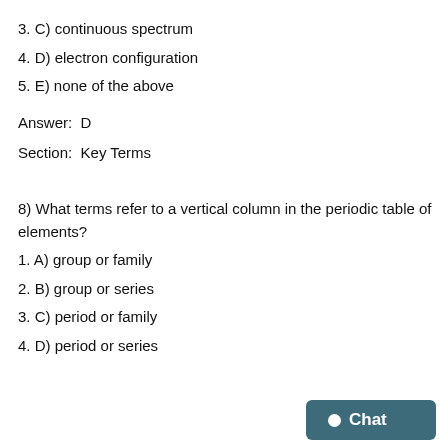3. C) continuous spectrum
4. D) electron configuration
5. E) none of the above
Answer:  D
Section:  Key Terms
8) What terms refer to a vertical column in the periodic table of elements?
1. A) group or family
2. B) group or series
3. C) period or family
4. D) period or series